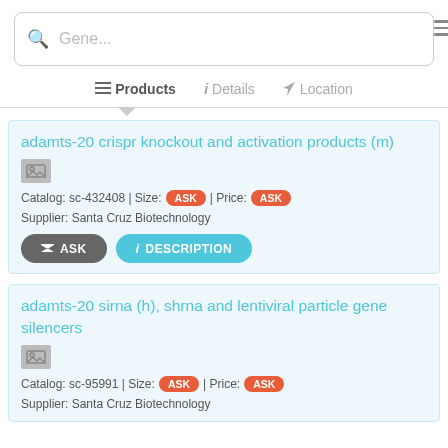[Figure (screenshot): Search bar with magnifying glass icon and placeholder text 'Gene...' and hamburger menu icon]
Products | Details | Location
adamts-20 crispr knockout and activation products (m)
Catalog: sc-432408 | Size: ASK | Price: ASK
Supplier: Santa Cruz Biotechnology
ASK | DESCRIPTION
adamts-20 sirna (h), shrna and lentiviral particle gene silencers
Catalog: sc-95991 | Size: ASK | Price: ASK
Supplier: Santa Cruz Biotechnology